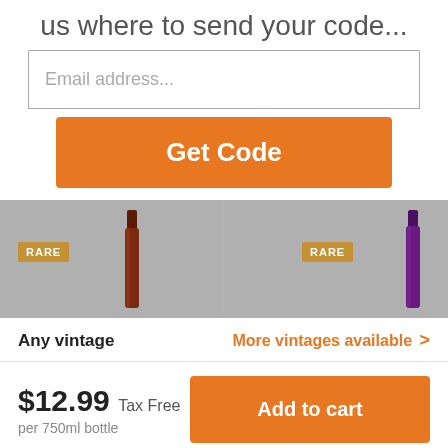us where to send your code...
Email address...
Get Code
[Figure (screenshot): Product banner showing two wine bottles with RARE badges on grey background]
Any vintage
More vintages available >
$12.99 Tax Free
per 750ml bottle
Add to cart